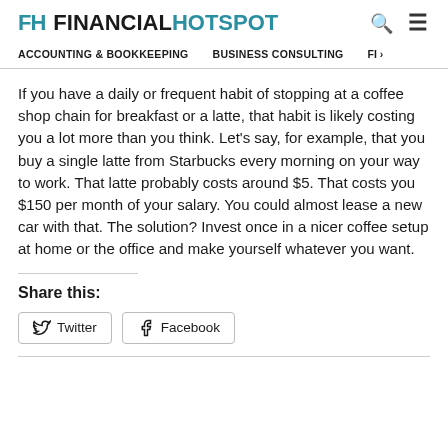FH FINANCIALHOTSPOT | ACCOUNTING & BOOKKEEPING | BUSINESS CONSULTING | FI >
If you have a daily or frequent habit of stopping at a coffee shop chain for breakfast or a latte, that habit is likely costing you a lot more than you think. Let's say, for example, that you buy a single latte from Starbucks every morning on your way to work. That latte probably costs around $5. That costs you $150 per month of your salary. You could almost lease a new car with that. The solution? Invest once in a nicer coffee setup at home or the office and make yourself whatever you want.
Share this:
Twitter  Facebook